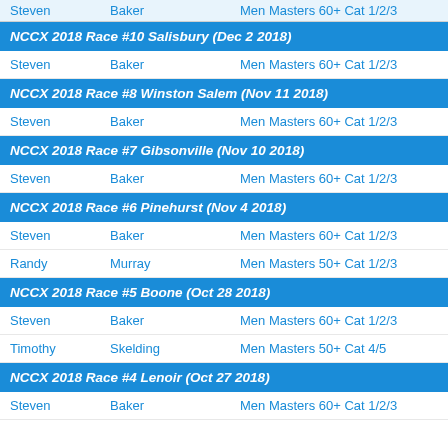Steven  Baker  Men Masters 60+ Cat 1/2/3
NCCX 2018 Race #10 Salisbury (Dec 2 2018)
Steven  Baker  Men Masters 60+ Cat 1/2/3
NCCX 2018 Race #8 Winston Salem (Nov 11 2018)
Steven  Baker  Men Masters 60+ Cat 1/2/3
NCCX 2018 Race #7 Gibsonville (Nov 10 2018)
Steven  Baker  Men Masters 60+ Cat 1/2/3
NCCX 2018 Race #6 Pinehurst (Nov 4 2018)
Steven  Baker  Men Masters 60+ Cat 1/2/3
Randy  Murray  Men Masters 50+ Cat 1/2/3
NCCX 2018 Race #5 Boone (Oct 28 2018)
Steven  Baker  Men Masters 60+ Cat 1/2/3
Timothy  Skelding  Men Masters 50+ Cat 4/5
NCCX 2018 Race #4 Lenoir (Oct 27 2018)
Steven  Baker  Men Masters 60+ Cat 1/2/3